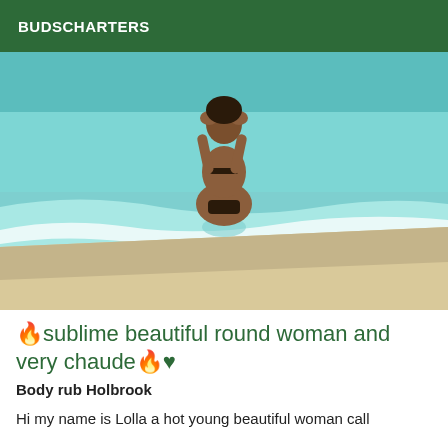BUDSCHARTERS
[Figure (photo): A woman in a bikini standing in shallow ocean water at a beach, facing away from the camera with hands raised to her face. The water is turquoise and the beach sand is white.]
🔥sublime beautiful round woman and very chaude🔥♥
Body rub Holbrook
Hi my name is Lolla a hot young beautiful woman call